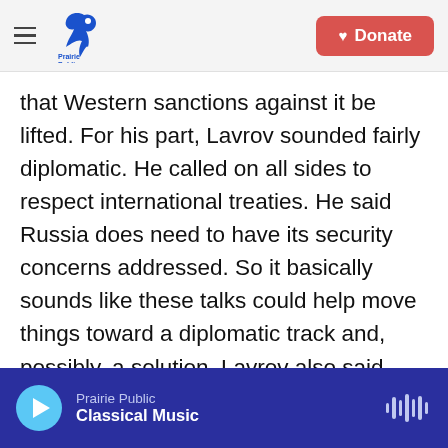Prairie Public | Donate
that Western sanctions against it be lifted. For his part, Lavrov sounded fairly diplomatic. He called on all sides to respect international treaties. He said Russia does need to have its security concerns addressed. So it basically sounds like these talks could help move things toward a diplomatic track and, possibly, a solution. Lavrov also said they are trying to minimize civilian damaging casualties. There'd be some dispute about that. But of course, we'll have to see what happens next.
INSKEEP: I'm just trying to figure out the mechanics of this. So they grow the grain in Ukraine on the
Prairie Public Classical Music